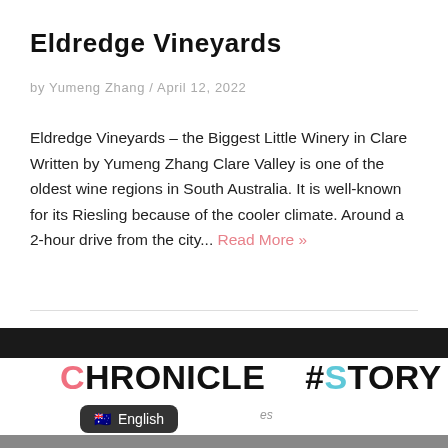Eldredge Vineyards
by Yumeng Zhang / April 12, 2022
Eldredge Vineyards – the Biggest Little Winery in Clare Written by Yumeng Zhang Clare Valley is one of the oldest wine regions in South Australia. It is well-known for its Riesling because of the cooler climate. Around a 2-hour drive from the city... Read More »
[Figure (other): Dark header bar for Chronicle #Story section footer]
CHRONICLE   #STORY
English (with Australian flag emoji)
[Figure (photo): Bottom strip showing partial photo of people]